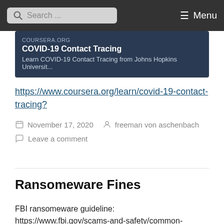Search ... Menu
[Figure (screenshot): Coursera.org card showing COVID-19 Contact Tracing course from Johns Hopkins University]
https://www.coursera.org/learn/covid-19-contact-tracing?
November 17, 2020   freeman von aschenbach
Leave a comment
Ransomeware Fines
FBI ransomeware guideline:
https://www.fbi.gov/scams-and-safety/common-